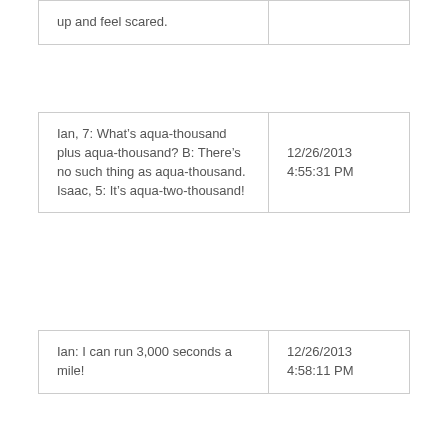| up and feel scared. |  |
| Ian, 7: What's aqua-thousand plus aqua-thousand? B: There's no such thing as aqua-thousand. Isaac, 5: It's aqua-two-thousand! | 12/26/2013 4:55:31 PM |
| Ian: I can run 3,000 seconds a mile! | 12/26/2013 4:58:11 PM |